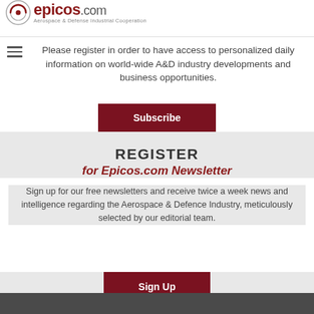[Figure (logo): Epicos.com logo with circular icon and tagline 'Aerospace & Defense Industrial Cooperation']
Please register in order to have access to personalized daily information on world-wide A&D industry developments and business opportunities.
Subscribe
REGISTER
for Epicos.com Newsletter
Sign up for our free newsletters and receive twice a week news and intelligence regarding the Aerospace & Defence Industry, meticulously selected by our editorial team.
Sign Up